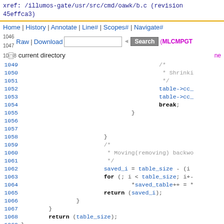xref: /illumos-gate/usr/src/cmd/oawk/b.c (revision 45effca3)
Home | History | Annotate | Line# | Scopes# | Navigate#
Raw | Download | [search box] Search (MLCMPGT) ne
current directory
[Figure (screenshot): Source code viewer showing C code lines 1049-1071 from /illumos-gate/usr/src/cmd/oawk/b.c with line numbers, comments, and code including table->cc_, break, closing braces, Moving(removing) comment, saved_i, for loop, return statements.]